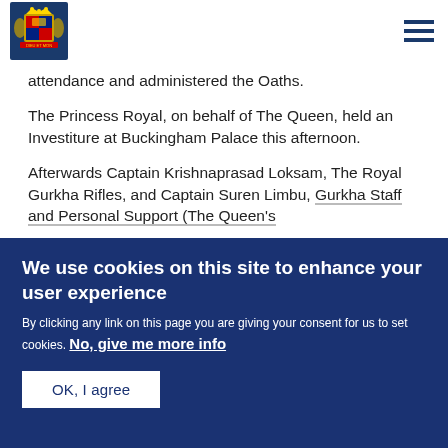[Figure (logo): Royal coat of arms crest logo]
attendance and administered the Oaths.
The Princess Royal, on behalf of The Queen, held an Investiture at Buckingham Palace this afternoon.
Afterwards Captain Krishnaprasad Loksam, The Royal Gurkha Rifles, and Captain Suren Limbu, Gurkha Staff and Personal Support (The Queen's...
We use cookies on this site to enhance your user experience
By clicking any link on this page you are giving your consent for us to set cookies. No, give me more info
OK, I agree